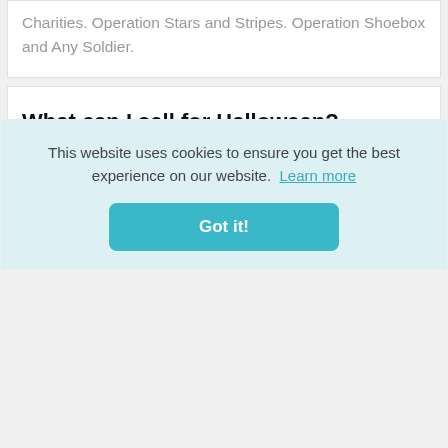Charities. Operation Stars and Stripes. Operation Shoebox and Any Soldier.
What can I sell for Halloween?
[Figure (other): Twitter and Blogger social media icons side by side]
There are lots of products you can offer during the month or so before Halloween,
This website uses cookies to ensure you get the best experience on our website. Learn more
Got it!